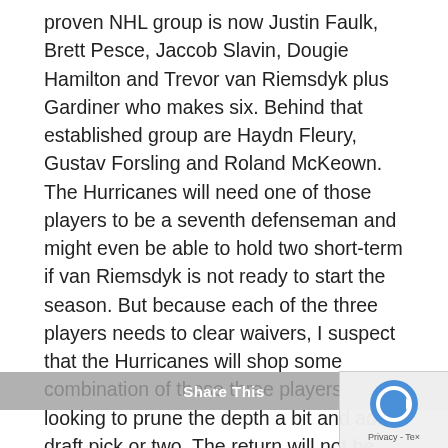proven NHL group is now Justin Faulk, Brett Pesce, Jaccob Slavin, Dougie Hamilton and Trevor van Riemsdyk plus Gardiner who makes six. Behind that established group are Haydn Fleury, Gustav Forsling and Roland McKeown. The Hurricanes will need one of those players to be a seventh defenseman and might even be able to hold two short-term if van Riemsdyk is not ready to start the season. But because each of the three players needs to clear waivers, I suspect that the Hurricanes will shop some combination of those three players looking to prune the depth a bit and add a draft pick or two. The return will not be tremendous, but if you can get even a mid/late round draft pick a player who is #8 on your blue line
Share This